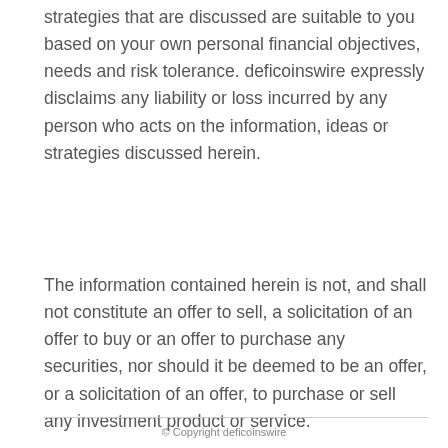strategies that are discussed are suitable to you based on your own personal financial objectives, needs and risk tolerance. deficoinswire expressly disclaims any liability or loss incurred by any person who acts on the information, ideas or strategies discussed herein.
The information contained herein is not, and shall not constitute an offer to sell, a solicitation of an offer to buy or an offer to purchase any securities, nor should it be deemed to be an offer, or a solicitation of an offer, to purchase or sell any investment product or service.
© Copyright deficoinswire